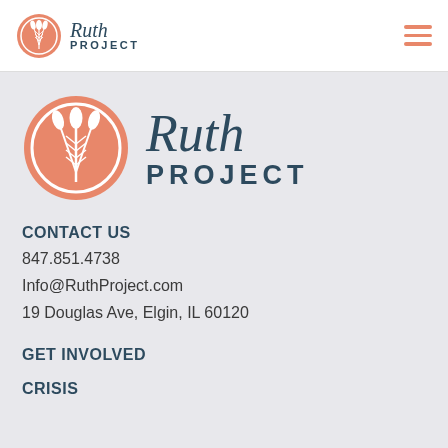Ruth Project — navigation bar with logo and hamburger menu
[Figure (logo): Ruth Project logo: salmon/coral circle with wheat stalks, beside the text 'Ruth PROJECT' in teal/dark blue]
[Figure (logo): Ruth Project large logo: salmon/coral circle with wheat stalks, beside 'Ruth PROJECT' script and bold text in dark teal]
CONTACT US
847.851.4738
Info@RuthProject.com
19 Douglas Ave, Elgin, IL 60120
GET INVOLVED
CRISIS